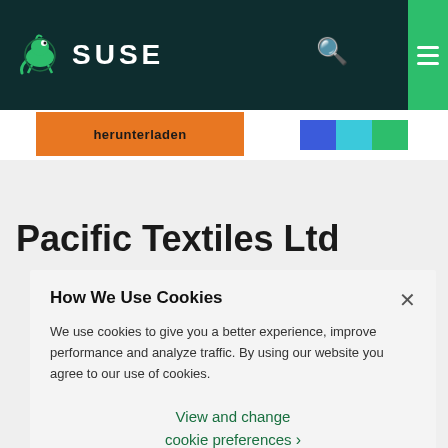SUSE
herunterladen
Pacific Textiles Ltd
How We Use Cookies
We use cookies to give you a better experience, improve performance and analyze traffic. By using our website you agree to our use of cookies.
View and change cookie preferences ›